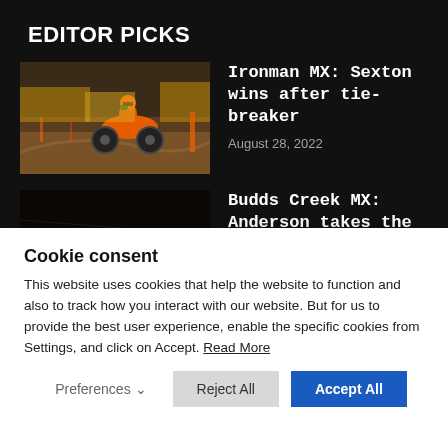EDITOR PICKS
[Figure (photo): Motocross rider on orange dirt bike racing on a dirt track]
Ironman MX: Sexton wins after tie-breaker
August 28, 2022
[Figure (photo): Motocross riders racing on a dirt track at night]
Budds Creek MX: Anderson takes the win
August 21, 2022
Cookie consent
This website uses cookies that help the website to function and also to track how you interact with our website. But for us to provide the best user experience, enable the specific cookies from Settings, and click on Accept. Read More